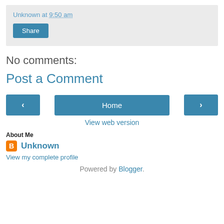Unknown at 9:50 am
Share
No comments:
Post a Comment
‹  Home  ›
View web version
About Me
Unknown
View my complete profile
Powered by Blogger.